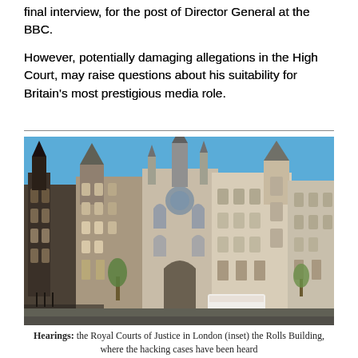final interview, for the post of Director General at the BBC.
However, potentially damaging allegations in the High Court, may raise questions about his suitability for Britain's most prestigious media role.
[Figure (photo): Photograph of the Royal Courts of Justice in London, a grand Victorian Gothic building with ornate stone facades, pointed spires, and large arched windows, under a clear blue sky with some trees in the foreground and a white bus parked outside.]
Hearings: the Royal Courts of Justice in London (inset) the Rolls Building, where the hacking cases have been heard